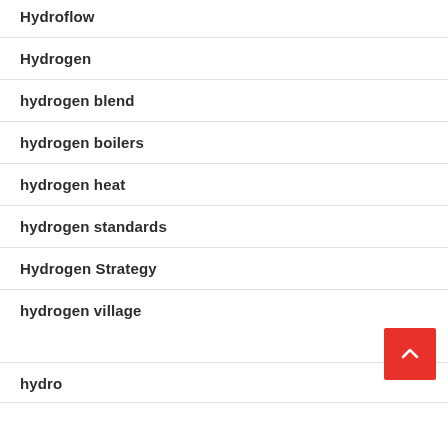Hydroflow
Hydrogen
hydrogen blend
hydrogen boilers
hydrogen heat
hydrogen standards
Hydrogen Strategy
hydrogen village
hydrogen village (partial)